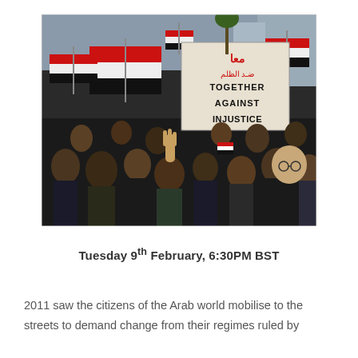[Figure (photo): A crowd of protesters holding Egyptian flags (red, white, black with eagle emblem) in a city square. A prominent sign reads 'TOGETHER AGAINST INJUSTICE' in English and Arabic.]
Tuesday 9th February, 6:30PM BST
2011 saw the citizens of the Arab world mobilise to the streets to demand change from their regimes ruled by